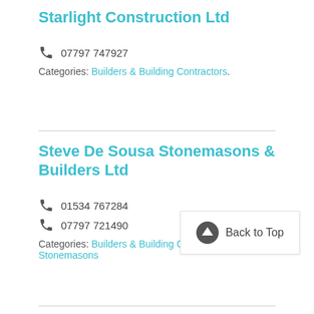Starlight Construction Ltd
07797 747927
Categories: Builders & Building Contractors.
Steve De Sousa Stonemasons & Builders Ltd
01534 767284
07797 721490
Categories: Builders & Building Contractors, Stonemasons
Stoytom Ltd